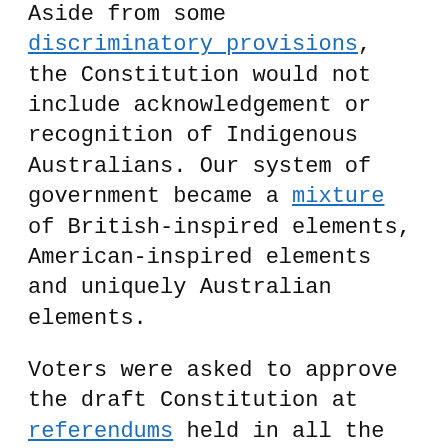Aside from some discriminatory provisions, the Constitution would not include acknowledgement or recognition of Indigenous Australians. Our system of government became a mixture of British-inspired elements, American-inspired elements and uniquely Australian elements.
Voters were asked to approve the draft Constitution at referendums held in all the colonies. All the colonies eventually voted in favour – though some only narrowly, and with most women and Indigenous Australians excluded from voting.
After being passed into law by parliament in London, the Constitution came into effect on January 1, 1901.